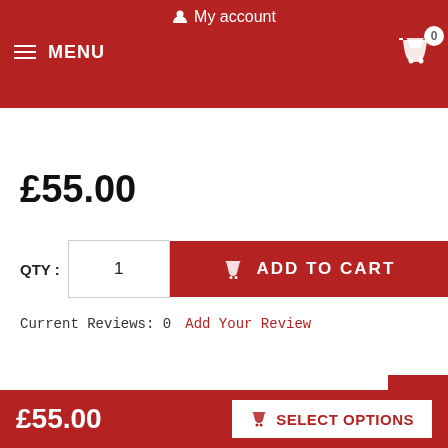My account
MENU
£55.00
QTY : 1  ADD TO CART
Current Reviews: 0  Add Your Review
[Figure (infographic): Social share buttons: Facebook (f), Twitter (bird), Email (envelope), Pinterest (P), More (+)]
£55.00  SELECT OPTIONS